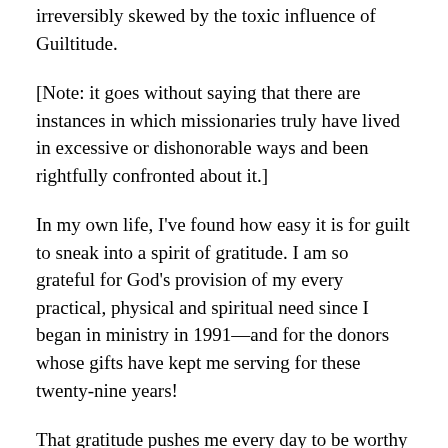irreversibly skewed by the toxic influence of Guiltitude.
[Note: it goes without saying that there are instances in which missionaries truly have lived in excessive or dishonorable ways and been rightfully confronted about it.]
In my own life, I've found how easy it is for guilt to sneak into a spirit of gratitude. I am so grateful for God's provision of my every practical, physical and spiritual need since I began in ministry in 1991—and for the donors whose gifts have kept me serving for these twenty-nine years!
That gratitude pushes me every day to be worthy of their sacrifice...but it also contributes to a creeping sense of guilt. How can I invest the funds I receive from supporters, who often give sacrificially, on